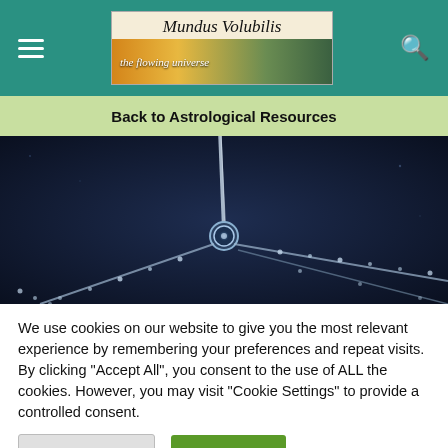Mundus Volubilis — the flowing universe
Back to Astrological Resources
[Figure (photo): Close-up macro photograph of a metal chain or necklace clasp on a dark blue/black background, with sparkling droplets or beads visible.]
We use cookies on our website to give you the most relevant experience by remembering your preferences and repeat visits. By clicking "Accept All", you consent to the use of ALL the cookies. However, you may visit "Cookie Settings" to provide a controlled consent.
Cookie Settings   Accept All